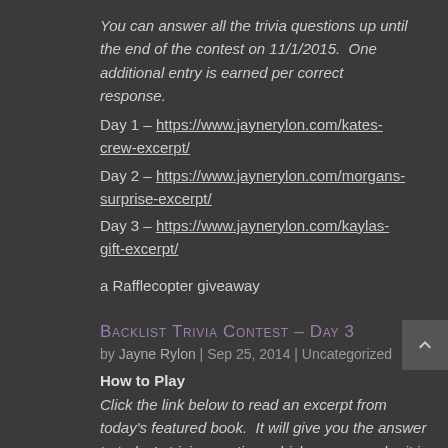You can answer all the trivia questions up until the end of the contest on 11/1/2015.  One additional entry is earned per correct response.
Day 1 – https://www.jaynerylon.com/kates-crew-excerpt/
Day 2 – https://www.jaynerylon.com/morgans-surprise-excerpt/
Day 3 – https://www.jaynerylon.com/kaylas-gift-excerpt/
a Rafflecopter giveaway
Backlist Trivia Contest – Day 3
by Jayne Rylon | Sep 25, 2014 | Uncategorized
How to Play
Click the link below to read an excerpt from today's featured book.  It will give you the answer to today's trivia question, which you can submit in the rafflecopter